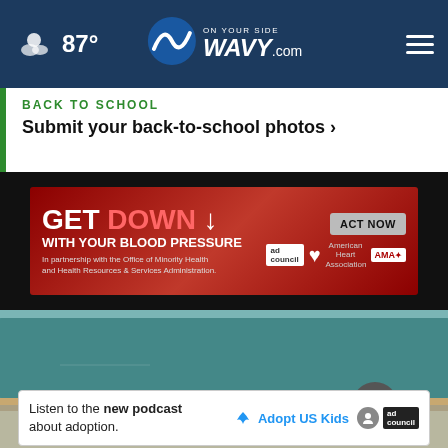87° WAVY.com ON YOUR SIDE
BACK TO SCHOOL
Submit your back-to-school photos ›
[Figure (screenshot): Advertisement banner: GET DOWN WITH YOUR BLOOD PRESSURE ↓ ACT NOW. In partnership with the Office of Minority Health and Health Resources & Services Administration. Logos: ad council, American Heart Association, AMA.]
[Figure (photo): Blurred classroom photo showing a green chalkboard and desks in the foreground.]
[Figure (screenshot): Bottom advertisement: Listen to the new podcast about adoption. Adopt US Kids logo with ad council badge.]